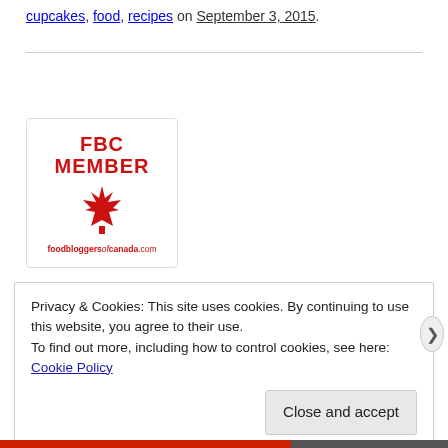cupcakes, food, recipes on September 3, 2015.
[Figure (logo): FBC Member badge with maple leaf and foodbloggersofcanada.com text]
Privacy & Cookies: This site uses cookies. By continuing to use this website, you agree to their use.
To find out more, including how to control cookies, see here: Cookie Policy
Close and accept